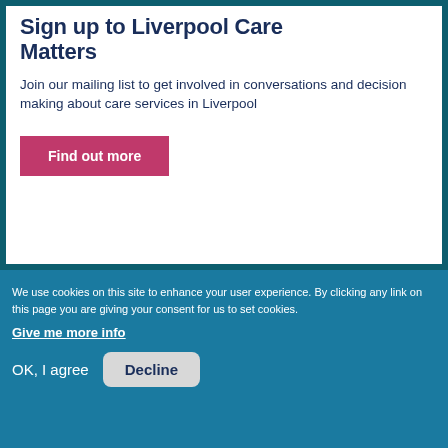Sign up to Liverpool Care Matters
Join our mailing list to get involved in conversations and decision making about care services in Liverpool
Find out more
We use cookies on this site to enhance your user experience. By clicking any link on this page you are giving your consent for us to set cookies.
Give me more info
OK, I agree
Decline